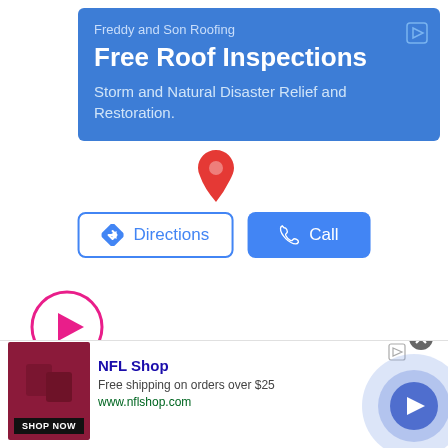[Figure (screenshot): Blue advertisement banner for Freddy and Son Roofing with company name, headline 'Free Roof Inspections', and subtext about storm and natural disaster relief]
Freddy and Son Roofing
Free Roof Inspections
Storm and Natural Disaster Relief and Restoration.
[Figure (illustration): Red map location pin marker]
[Figure (illustration): Directions button with blue diamond arrow icon and Call button with phone icon]
[Figure (illustration): Pink circular play button]
[Figure (screenshot): NFL Shop advertisement banner with product image, shop now button, title, free shipping text, and website URL]
NFL Shop
Free shipping on orders over $25
www.nflshop.com